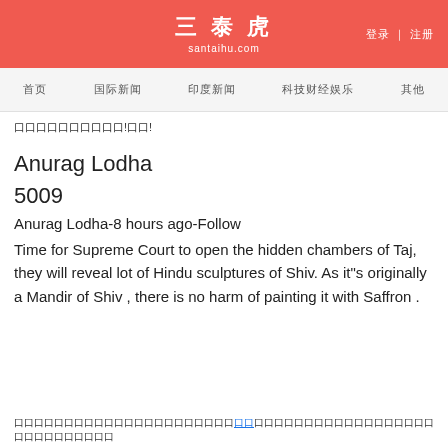三泰虎 santaihu.com  登录 | 注册
首页  国际新闻  印度新闻  科技财经娱乐  其他
口口口口口口口口口口!口口!
Anurag Lodha
5009
Anurag Lodha-8 hours ago-Follow
Time for Supreme Court to open the hidden chambers of Taj, they will reveal lot of Hindu sculptures of Shiv. As it"s originally a Mandir of Shiv , there is no harm of painting it with Saffron .
口口口口口口口口口口口口口口口口口口口口口口 口口 口口口口口口口口口口口口口口口口口口口口口口口口口口